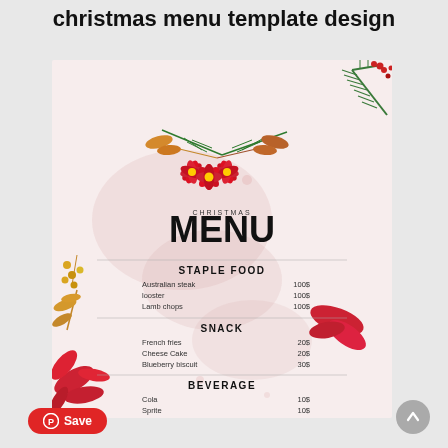christmas menu template design
[Figure (illustration): Christmas menu template card with watercolor pink background, floral decorations including pine branches, red poinsettia flowers, red berries, golden/red botanical leaves. Contains menu sections for STAPLE FOOD, SNACK, and BEVERAGE with items and prices.]
CHRISTMAS MENU
STAPLE FOOD
Australian steak    100$
looster    100$
Lamb chops    100$
SNACK
French fries    20$
Cheese Cake    20$
Blueberry biscuit    30$
BEVERAGE
Cola    10$
Sprite    10$
Orange Juice    15$
I PROMISE OUR FOOD IS SAFE AND CLEAN YOU CAN EAT REST ASSURED